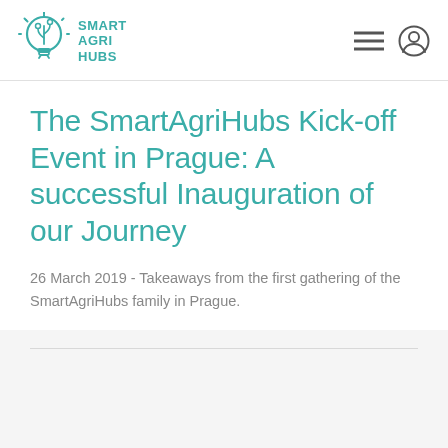SMART AGRI HUBS
The SmartAgriHubs Kick-off Event in Prague: A successful Inauguration of our Journey
26 March 2019 - Takeaways from the first gathering of the SmartAgriHubs family in Prague.